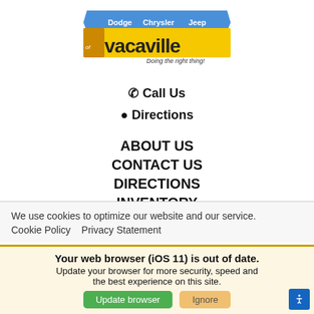[Figure (logo): Dodge Chrysler Jeep of Vacaville dealership logo with blue banner and yellow text. Tagline: Doing the right thing!]
📞 Call Us
📍 Directions
ABOUT US
CONTACT US
DIRECTIONS
INVENTORY
We use cookies to optimize our website and our service.
Cookie Policy   Privacy Statement
Your web browser (iOS 11) is out of date. Update your browser for more security, speed and the best experience on this site.